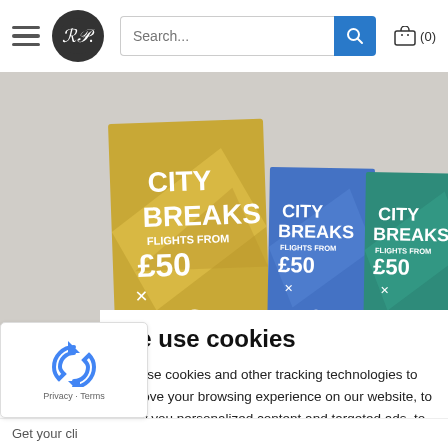RP logo, hamburger menu, search bar, cart (0)
[Figure (photo): Hero image showing three city breaks promotional flyers/posters with text 'CITY BREAKS FLIGHTS FROM £50' in yellow/gold, blue, and teal/green colors on a grey background.]
We use cookies
We use cookies and other tracking technologies to improve your browsing experience on our website, to show you personalized content and targeted ads, to analyze our website traffic, and to understand where our visitors are coming from
[Figure (logo): reCAPTCHA privacy badge with spinning arrows logo and Privacy · Terms links]
Get your cli